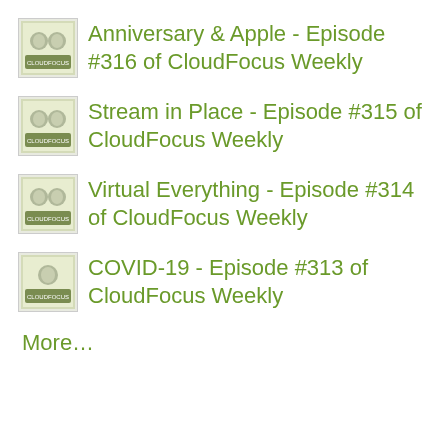Anniversary & Apple - Episode #316 of CloudFocus Weekly
Stream in Place - Episode #315 of CloudFocus Weekly
Virtual Everything - Episode #314 of CloudFocus Weekly
COVID-19 - Episode #313 of CloudFocus Weekly
More…